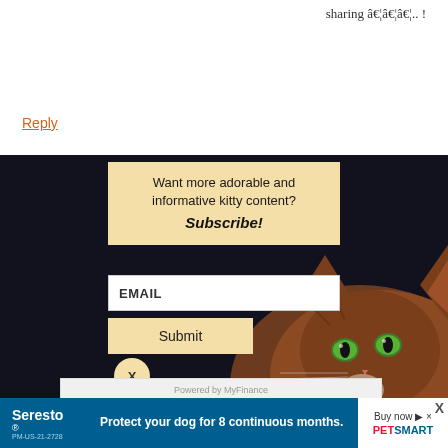sharing â€¦â€¦â€¦.. !
Reply
Want more adorable and informative kitty content? Subscribe!
EMAIL
Submit
X
[Figure (photo): A brown tabby cat with bright green eyes looking up against a dark background, visible in the lower right of the modal overlay]
Powered by MyFinance
[Figure (other): Seresto advertisement banner: 'Protect your dog for 8 continuous months.' with Buy now and PetSmart branding]
X